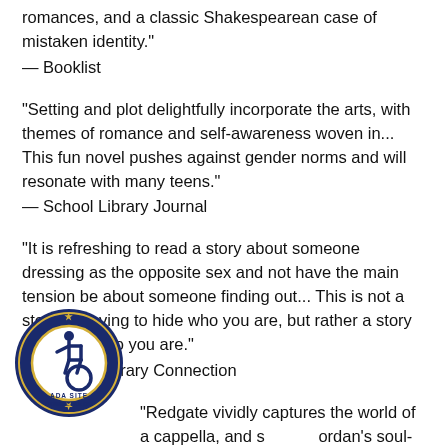romances, and a classic Shakespearean case of mistaken identity."
— Booklist
"Setting and plot delightfully incorporate the arts, with themes of romance and self-awareness woven in... This fun novel pushes against gender norms and will resonate with many teens."
— School Library Journal
"It is refreshing to read a story about someone dressing as the opposite sex and not have the main tension be about someone finding out... This is not a story of having to hide who you are, but rather a story of finding who you are."
— School Library Connection
"Redgate vividly captures the world of a cappella, and s[...]ordan's soul-searching—as well as her family's [str]uggles...to bring freshness and substantial [...]gender-bending/mistaken identity plot that h[...]g history in literature and theater."
— Publishers Weekly
[Figure (logo): ADA Site Compliance badge — circular seal with wheelchair accessibility icon and text 'ADA SITE COMPLIANCE' with gold stars border on dark blue background]